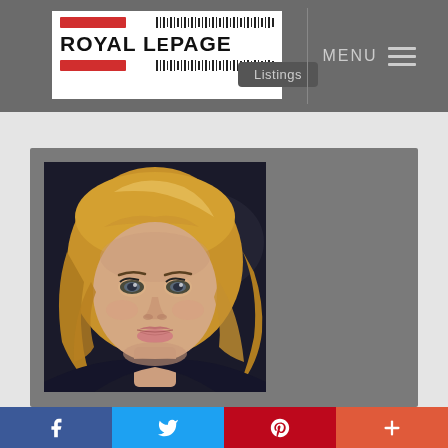[Figure (logo): Royal LePage real estate logo with red bars and barcode lines, white background]
Listings
MENU
[Figure (photo): Professional headshot of a blonde woman in a dark top, against a dark background]
[Figure (infographic): Social media share bar with Facebook, Twitter, Pinterest, and plus buttons]